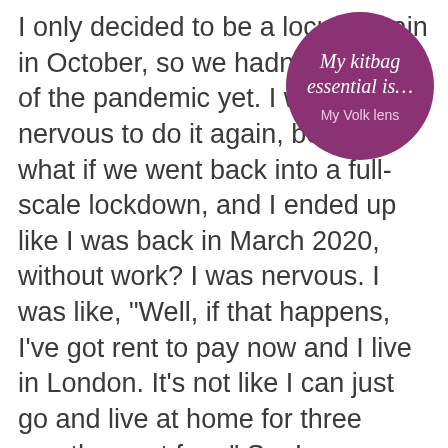I only decided to be a locum again in October, so we hadn't come out of the pandemic yet. I was a bit nervous to do it again, because what if we went back into a full-scale lockdown, and I ended up like I was back in March 2020, without work? I was nervous. I was like, "Well, if that happens, I've got rent to pay now and I live in London. It's not like I can just go and live at home for three months, rent free." So, I guess coming out of the pandemic, nervous that we might go back into lockdown and have all my work cancelled, has been a
[Figure (infographic): Purple circle badge with italic white text 'My kitbag essential is...' and smaller text 'My Volk lens']